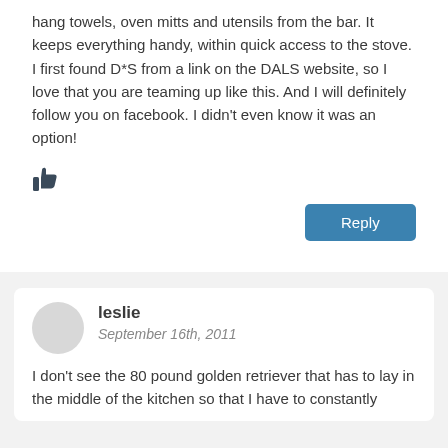hang towels, oven mitts and utensils from the bar. It keeps everything handy, within quick access to the stove.
I first found D*S from a link on the DALS website, so I love that you are teaming up like this. And I will definitely follow you on facebook. I didn't even know it was an option!
[Figure (other): Thumbs up / like icon]
Reply
leslie
September 16th, 2011
I don't see the 80 pound golden retriever that has to lay in the middle of the kitchen so that I have to constantly